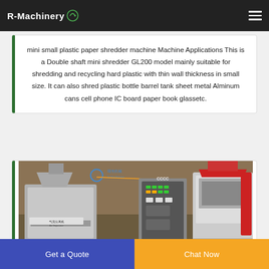R-Machinery
mini small plastic paper shredder machine Machine Applications This is a Double shaft mini shredder GL200 model mainly suitable for shredding and recycling hard plastic with thin wall thickness in small size. It can also shred plastic bottle barrel tank sheet metal Alminum cans cell phone IC board paper book glassetc.
[Figure (photo): Industrial shredder machine with air separator unit and red components, shown in a factory setting. Chinese branding visible on the machine.]
Get a Quote | Chat Now